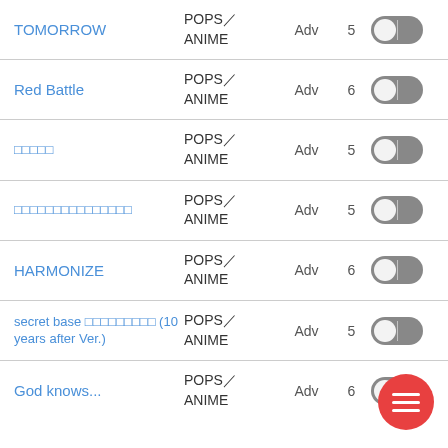TOMORROW | POPS／ANIME | Adv | 5
Red Battle | POPS／ANIME | Adv | 6
□□□□□ | POPS／ANIME | Adv | 5
□□□□□□□□□□□□□□□ | POPS／ANIME | Adv | 5
HARMONIZE | POPS／ANIME | Adv | 6
secret base □□□□□□□□□ (10 years after Ver.) | POPS／ANIME | Adv | 5
God knows... | POPS／ANIME | Adv | 6